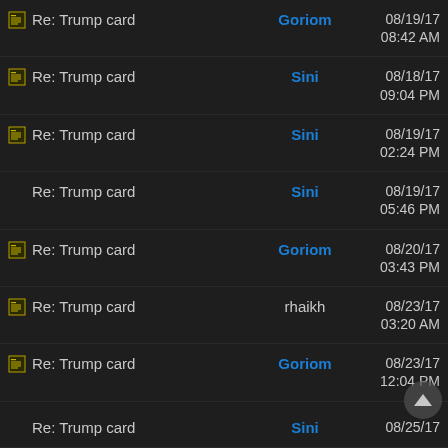Re: Trump card | Goriom | 08/19/17 08:42 AM
Re: Trump card | Sini | 08/18/17 09:04 PM
Re: Trump card | Sini | 08/19/17 02:24 PM
Re: Trump card | Sini | 08/19/17 05:46 PM
Re: Trump card | Goriom | 08/20/17 03:43 PM
Re: Trump card | rhaikh | 08/23/17 03:20 AM
Re: Trump card | Goriom | 08/23/17 12:04 PM
Re: Trump card | Sini | 08/25/17